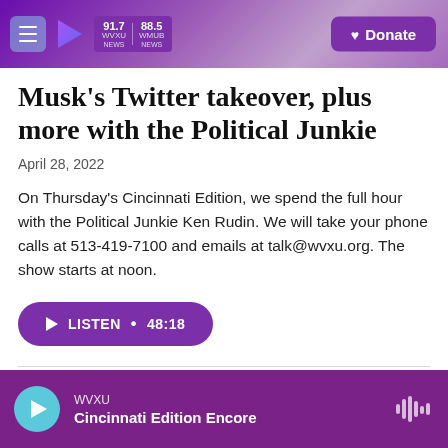WVXU 91.7 NEWS | WMUB 88.5 NEWS | Donate
Musk's Twitter takeover, plus more with the Political Junkie
April 28, 2022
On Thursday's Cincinnati Edition, we spend the full hour with the Political Junkie Ken Rudin. We will take your phone calls at 513-419-7100 and emails at talk@wvxu.org. The show starts at noon.
LISTEN • 48:18
WVXU | Cincinnati Edition Encore